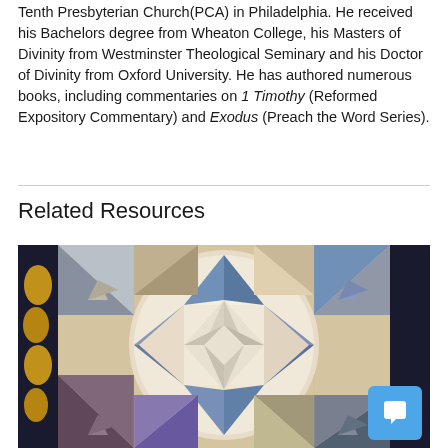Tenth Presbyterian Church(PCA) in Philadelphia. He received his Bachelors degree from Wheaton College, his Masters of Divinity from Westminster Theological Seminary and his Doctor of Divinity from Oxford University. He has authored numerous books, including commentaries on 1 Timothy (Reformed Expository Commentary) and Exodus (Preach the Word Series).
Related Resources
[Figure (photo): Close-up photograph of a colorful geometric quilt with circular patterns, featuring blue, white, beige, and multicolored fabric pieces arranged in a kaleidoscopic design with a dark border]